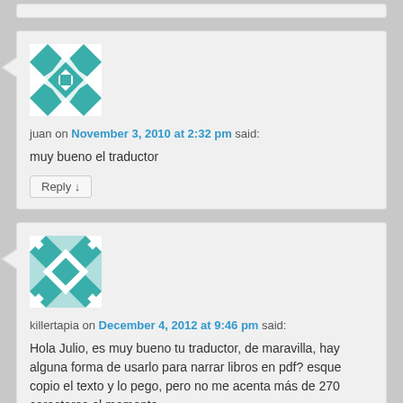[Figure (illustration): Decorative avatar image for user 'juan' - teal geometric quilt pattern]
juan on November 3, 2010 at 2:32 pm said:
muy bueno el traductor
Reply ↓
[Figure (illustration): Decorative avatar image for user 'killertapia' - teal geometric diamond pattern]
killertapia on December 4, 2012 at 9:46 pm said:
Hola Julio, es muy bueno tu traductor, de maravilla, hay alguna forma de usarlo para narrar libros en pdf? esque copio el texto y lo pego, pero no me acenta más de 270 caracteres el momento